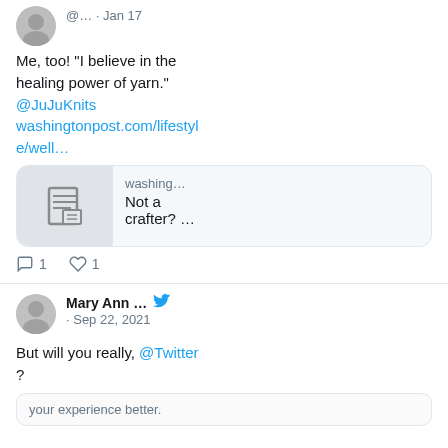[Figure (screenshot): Twitter/social media feed screenshot showing two tweets. First tweet from @... Jan 17 with text about healing power of yarn and a Washington Post link card. Second tweet from Mary Ann ... Sep 22 2021 mentioning @Twitter.]
@... · Jan 17
Me, too! "I believe in the healing power of yarn." @JuJuKnits washingtonpost.com/lifestyle/well…
washing… Not a crafter? …
1  1
Mary Ann ... · Sep 22, 2021
But will you really, @Twitter ?
your experience better.